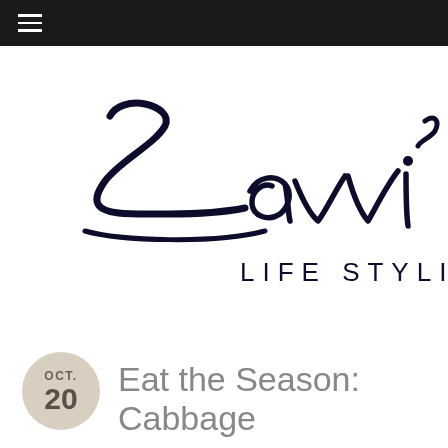Navigation menu bar
[Figure (logo): Zavvi Life Stylish cursive script logo, partially visible, cropped on right side]
Eat the Season: Cabbage